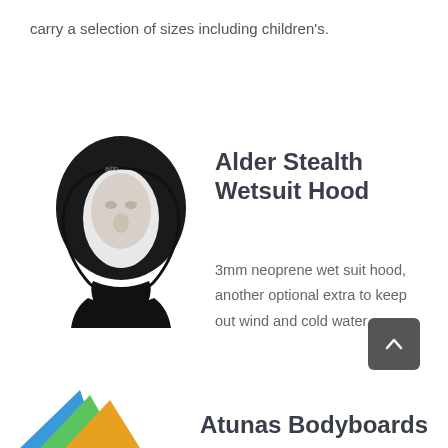carry a selection of sizes including children's.
[Figure (photo): Black neoprene wetsuit hood worn on a mannequin head, showing the Alder Stealth Wetsuit Hood product.]
Alder Stealth Wetsuit Hood
3mm neoprene wet suit hood, another optional extra to keep out wind and cold water.
[Figure (photo): Colorful bodyboard products partially visible at the bottom left corner.]
Atunas Bodyboards